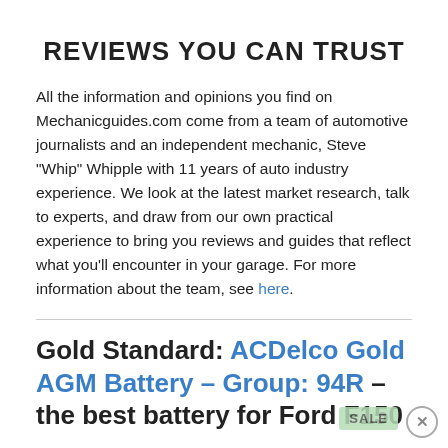REVIEWS YOU CAN TRUST
All the information and opinions you find on Mechanicguides.com come from a team of automotive journalists and an independent mechanic, Steve "Whip" Whipple with 11 years of auto industry experience. We look at the latest market research, talk to experts, and draw from our own practical experience to bring you reviews and guides that reflect what you'll encounter in your garage. For more information about the team, see here.
Gold Standard: ACDelco Gold AGM Battery – Group: 94R – the best battery for Ford F150